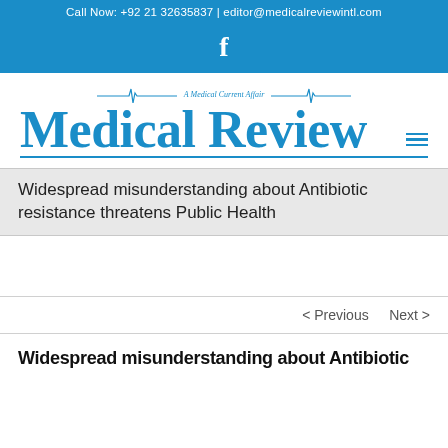Call Now: +92 21 32635837 | editor@medicalreviewintl.com
[Figure (logo): Facebook icon white on blue background]
[Figure (logo): Medical Review magazine logo with ECG heartbeat lines and tagline 'A Medical Current Affair']
Widespread misunderstanding about Antibiotic resistance threatens Public Health
< Previous   Next >
Widespread misunderstanding about Antibiotic